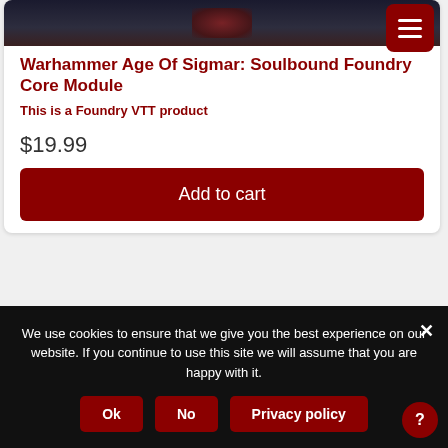[Figure (screenshot): Dark product banner image with reddish emblem on dark background]
Warhammer Age Of Sigmar: Soulbound Foundry Core Module
This is a Foundry VTT product
$19.99
Add to cart
[Figure (screenshot): Second product card showing Warhammer logo on dark textured background]
We use cookies to ensure that we give you the best experience on our website. If you continue to use this site we will assume that you are happy with it.
Ok
No
Privacy policy